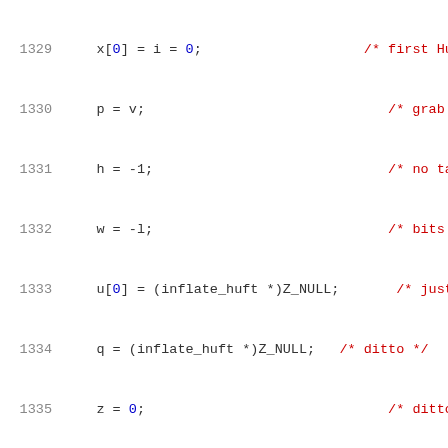[Figure (screenshot): Source code listing in C, lines 1329-1350, showing Huffman table construction code with syntax highlighting. Line numbers in grey on left, keywords in dark blue bold, array indices in blue, comments in red.]